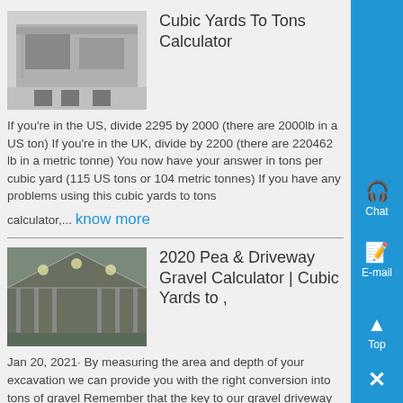Cubic Yards To Tons Calculator
If you're in the US, divide 2295 by 2000 (there are 2000lb in a US ton) If you're in the UK, divide by 2200 (there are 220462 lb in a metric tonne) You now have your answer in tons per cubic yard (115 US tons or 104 metric tonnes) If you have any problems using this cubic yards to tons calculator,... know more
2020 Pea & Driveway Gravel Calculator | Cubic Yards to ,
Jan 20, 2021· By measuring the area and depth of your excavation we can provide you with the right conversion into tons of gravel Remember that the key to our gravel driveway calculator is to measure in cubic yards in order to figure out